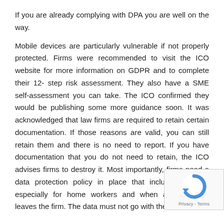If you are already complying with DPA you are well on the way.
Mobile devices are particularly vulnerable if not properly protected. Firms were recommended to visit the ICO website for more information on GDPR and to complete their 12- step risk assessment. They also have a SME self-assessment you can take. The ICO confirmed they would be publishing some more guidance soon. It was acknowledged that law firms are required to retain certain documentation. If those reasons are valid, you can still retain them and there is no need to report. If you have documentation that you do not need to retain, the ICO advises firms to destroy it. Most importantly, firms need a data protection policy in place that includes training, especially for home workers and when an employee leaves the firm. The data must not go with them!
[Figure (logo): reCAPTCHA badge with blue arrow logo and Privacy - Terms text]